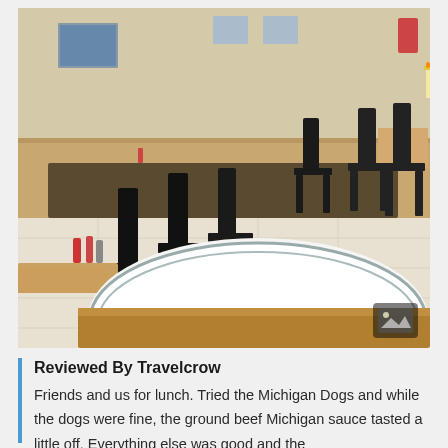[Figure (photo): Interior of a diner/restaurant showing rows of dark wooden chairs and tables with a light tile floor. A white plate with a blue rim is visible in the foreground on a wooden table. Pictures hang on the cream-colored walls. A small image overlay icon is visible in the bottom right corner of the photo.]
Reviewed By Travelcrow
Friends and us for lunch. Tried the Michigan Dogs and while the dogs were fine, the ground beef Michigan sauce tasted a little off. Everything else was good and the